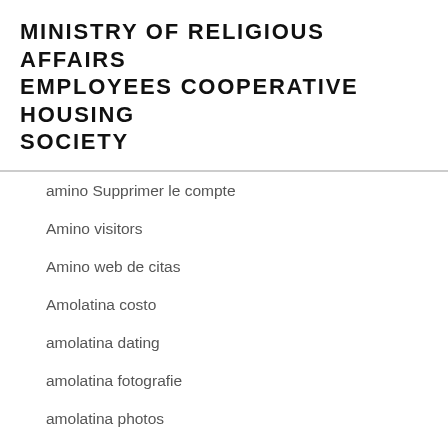MINISTRY OF RELIGIOUS AFFAIRS EMPLOYEES COOPERATIVE HOUSING SOCIETY
amino Supprimer le compte
Amino visitors
Amino web de citas
Amolatina costo
amolatina dating
amolatina fotografie
amolatina photos
amolatina pl review
Amolatina rencontre fran?aise
AmoLatina visitors